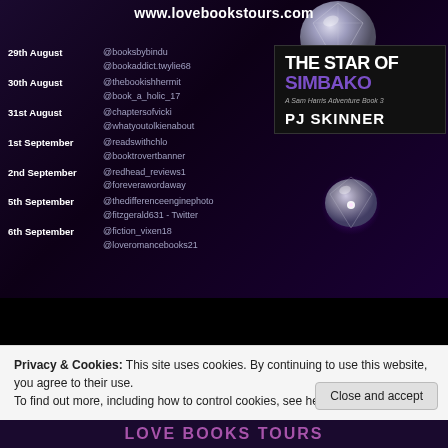www.lovebookstours.com
29th August @booksbybindu @bookaddict.twylie68
30th August @thebookishhermit @book_a_holic_17
31st August @chaptersofvicki @whatyoutolkienabout
1st September @readswithchlo @booktrovertbanner
2nd September @redhead_reviews1 @foreverawordaway
5th September @thedifferenceenginephoto @fitzgerald631 - Twitter
6th September @fiction_vixen18 @loveromancebooks21
[Figure (illustration): Book cover for The Star of Simbako by PJ Skinner, A Sam Harris Adventure Book 3, with diamond gemstone imagery on dark purple background]
Privacy & Cookies: This site uses cookies. By continuing to use this website, you agree to their use.
To find out more, including how to control cookies, see here: Cookie Policy
LOVE BOOKS TOURS